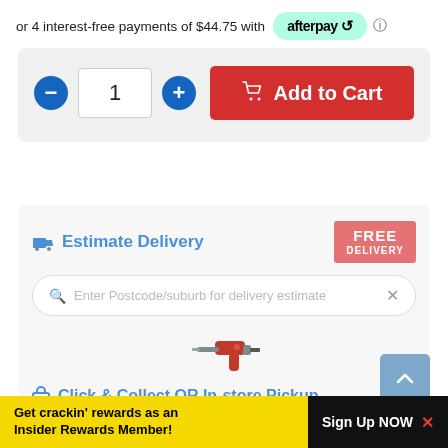or 4 interest-free payments of $44.75 with afterpay
[Figure (screenshot): Add to Cart section with quantity controls (minus, 1, plus) and a red Add to Cart button with shopping cart icon]
Estimate Delivery
[Figure (logo): FREE DELIVERY badge in red]
Enter Postcode/suburb for delivery estimate
[Figure (photo): Red power drill / tool image]
Click & Collect OR In-store Pickup
Enter Postcode/suburb for nearest store
Get crackin' rewards as an Insider Rewards Member!
Sign Up NOW ×